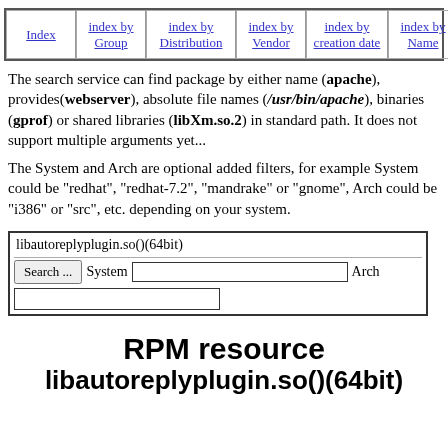| Index | index by Group | index by Distribution | index by Vendor | index by creation date | index by Name | Mirrors |
| --- | --- | --- | --- | --- | --- | --- |
|  |
The search service can find package by either name (apache), provides(webserver), absolute file names (/usr/bin/apache), binaries (gprof) or shared libraries (libXm.so.2) in standard path. It does not support multiple arguments yet...
The System and Arch are optional added filters, for example System could be "redhat", "redhat-7.2", "mandrake" or "gnome", Arch could be "i386" or "src", etc. depending on your system.
libautoreplyplugin.so()(64bit) [search field] Search ... System [input] Arch [input]
RPM resource libautoreplyplugin.so()(64bit)